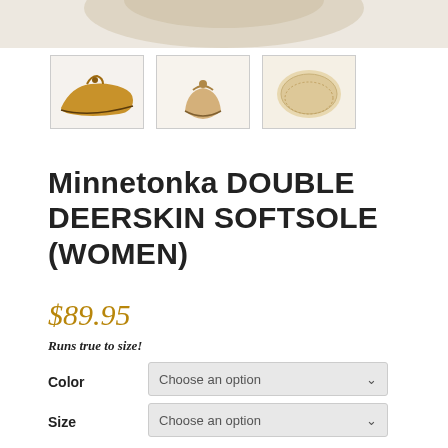[Figure (photo): Top portion of a moccasin shoe partially visible at the top of the page]
[Figure (photo): Three thumbnail images of Minnetonka Double Deerskin Softsole moccasin: side view (tan/brown), front view (light tan), and sole view (beige)]
Minnetonka DOUBLE DEERSKIN SOFTSOLE (WOMEN)
$89.95
Runs true to size!
Color
Choose an option
Size
Choose an option